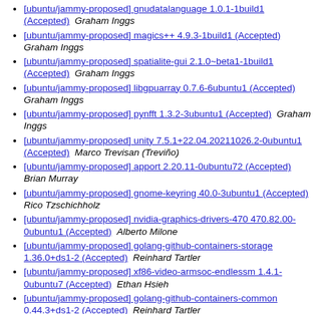[ubuntu/jammy-proposed] gnudatalanguage 1.0.1-1build1 (Accepted)  Graham Inggs
[ubuntu/jammy-proposed] magics++ 4.9.3-1build1 (Accepted)  Graham Inggs
[ubuntu/jammy-proposed] spatialite-gui 2.1.0~beta1-1build1 (Accepted)  Graham Inggs
[ubuntu/jammy-proposed] libgpuarray 0.7.6-6ubuntu1 (Accepted)  Graham Inggs
[ubuntu/jammy-proposed] pynfft 1.3.2-3ubuntu1 (Accepted)  Graham Inggs
[ubuntu/jammy-proposed] unity 7.5.1+22.04.20211026.2-0ubuntu1 (Accepted)  Marco Trevisan (Treviño)
[ubuntu/jammy-proposed] apport 2.20.11-0ubuntu72 (Accepted)  Brian Murray
[ubuntu/jammy-proposed] gnome-keyring 40.0-3ubuntu1 (Accepted)  Rico Tzschichholz
[ubuntu/jammy-proposed] nvidia-graphics-drivers-470 470.82.00-0ubuntu1 (Accepted)  Alberto Milone
[ubuntu/jammy-proposed] golang-github-containers-storage 1.36.0+ds1-2 (Accepted)  Reinhard Tartler
[ubuntu/jammy-proposed] xf86-video-armsoc-endlessm 1.4.1-0ubuntu7 (Accepted)  Ethan Hsieh
[ubuntu/jammy-proposed] golang-github-containers-common 0.44.3+ds1-2 (Accepted)  Reinhard Tartler
[ubuntu/jammy-proposed] cysignals 1.10.2+ds-6ubuntu1